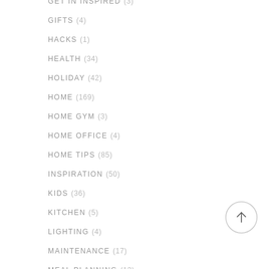GET INSPIRED (3)
GIFTS (4)
HACKS (1)
HEALTH (34)
HOLIDAY (42)
HOME (169)
HOME GYM (3)
HOME OFFICE (4)
HOME TIPS (85)
INSPIRATION (50)
KIDS (36)
KITCHEN (5)
LIGHTING (4)
MAINTENANCE (17)
MEAL PLANNING (13)